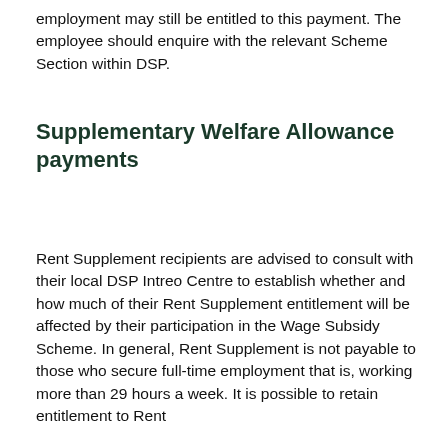employment may still be entitled to this payment. The employee should enquire with the relevant Scheme Section within DSP.
Supplementary Welfare Allowance payments
Rent Supplement recipients are advised to consult with their local DSP Intreo Centre to establish whether and how much of their Rent Supplement entitlement will be affected by their participation in the Wage Subsidy Scheme. In general, Rent Supplement is not payable to those who secure full-time employment that is, working more than 29 hours a week. It is possible to retain entitlement to Rent